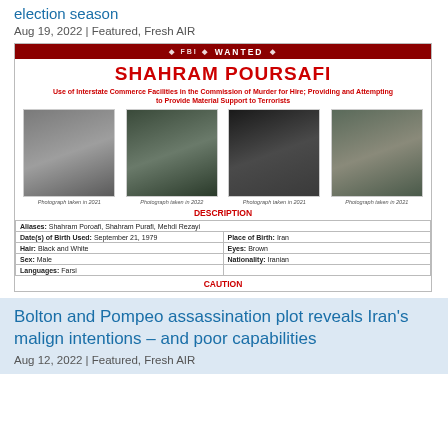election season
Aug 19, 2022 | Featured, Fresh AIR
[Figure (other): FBI Most Wanted poster for Shahram Poursafi, showing four photographs of the subject taken in 2021-2022, with name, charges, and description table listing aliases, dates of birth, hair, eyes, sex, nationality, place of birth, and languages.]
Bolton and Pompeo assassination plot reveals Iran's malign intentions – and poor capabilities
Aug 12, 2022 | Featured, Fresh AIR